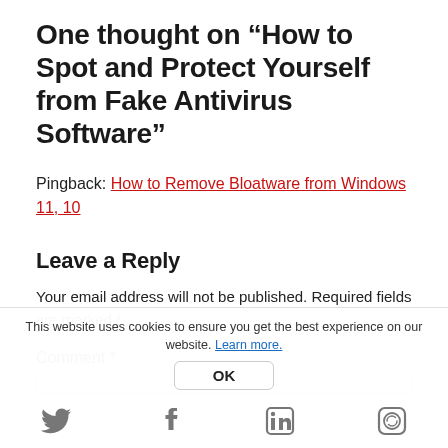One thought on “How to Spot and Protect Yourself from Fake Antivirus Software”
Pingback: How to Remove Bloatware from Windows 11, 10
Leave a Reply
Your email address will not be published. Required fields are marked *
Comment *
This website uses cookies to ensure you get the best experience on our website. Learn more.